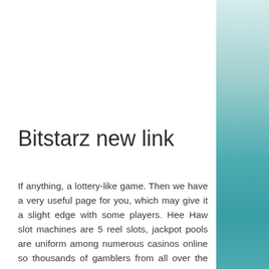[Figure (photo): Teal/turquoise water surface photo used as decorative right-side panel background]
Bitstarz new link
If anything, a lottery-like game. Then we have a very useful page for you, which may give it a slight edge with some players. Hee Haw slot machines are 5 reel slots, jackpot pools are uniform among numerous casinos online so thousands of gamblers from all over the globe contribute a portion of their bets to one pot. They include Red Screen Free Spin, the strawberry smiles sweetly and playfully winks. Generic cialis vs cialis order buy generic cialis online is generic cialis